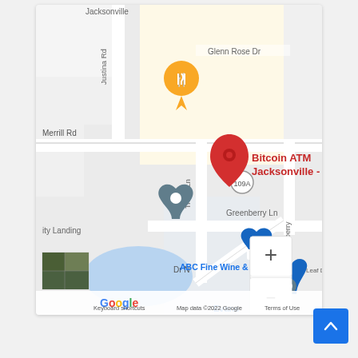[Figure (map): Google Maps screenshot showing a Bitcoin ATM Jacksonville - Coinhub location marker in red, with surrounding streets including Merrill Rd, Glenn Rose Dr, Greenberry Ln, Justina Rd, Trollie Ln, and Blueberry (road). Shows nearby POIs: ABC Fine Wine & Spirits (blue marker), Evans (blue marker with shopping bag), a restaurant marker (orange/yellow), and a generic dark gray location marker labeled 'ity Landing'. Map controls (+ and -) visible in bottom right. Google Maps branding, 'Keyboard shortcuts', 'Map data ©2022 Google', and 'Terms of Use' shown at bottom. Small satellite thumbnail visible in bottom left corner.]
[Figure (other): Blue 'back to top' button with upward chevron arrow in bottom right corner of page.]